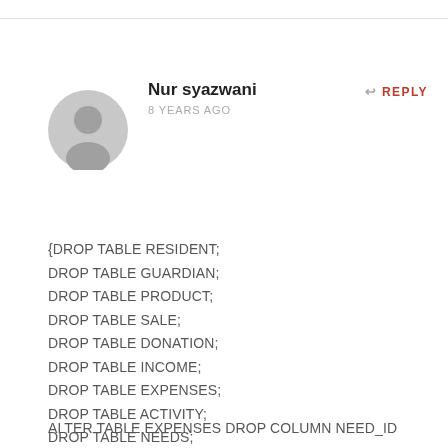Nur syazwani
8 YEARS AGO
REPLY
[Figure (illustration): Gray circular avatar placeholder icon]
{DROP TABLE RESIDENT;
DROP TABLE GUARDIAN;
DROP TABLE PRODUCT;
DROP TABLE SALE;
DROP TABLE DONATION;
DROP TABLE INCOME;
DROP TABLE EXPENSES;
DROP TABLE ACTIVITY;
DROP TABLE NEEDS;
ALTER TABLE EXPENSES DROP COLUMN NEED_ID